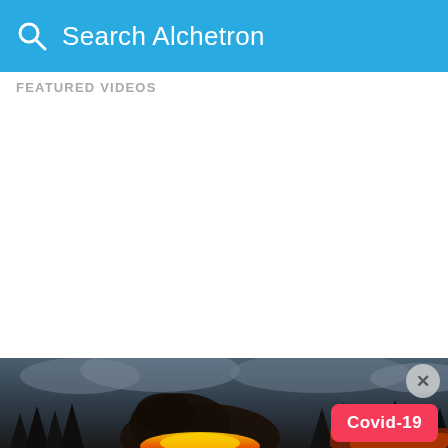Search Alchetron
FEATURED VIDEOS
[Figure (screenshot): Dark fantasy game screenshot showing a large creature with fire and glowing effects in a forest at night with dramatic cloudy sky. A close button (X) and a Covid-19 red badge overlay are visible.]